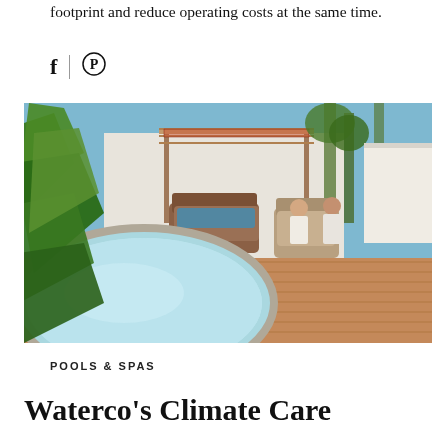footprint and reduce operating costs at the same time.
[Figure (illustration): Social media share icons: Facebook (f) and Pinterest (circle P symbol) separated by a vertical divider line]
[Figure (photo): Outdoor spa/hot tub area with turquoise water, tropical green leaves in foreground, wooden deck, two people relaxing on wicker chairs under a pergola, palm trees and white wall in background]
POOLS & SPAS
Waterco's Climate Care